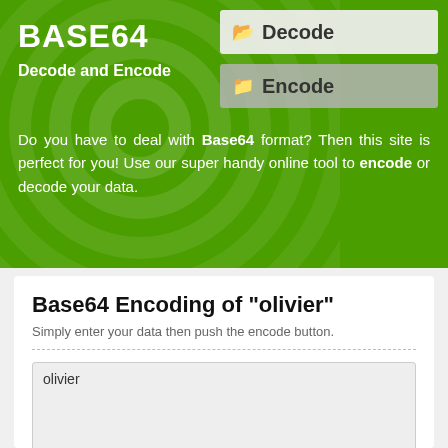BASE64
Decode and Encode
[Figure (screenshot): Decode navigation button with folder icon]
[Figure (screenshot): Encode navigation button with folder icon, grey background]
Do you have to deal with Base64 format? Then this site is perfect for you! Use our super handy online tool to encode or decode your data.
Base64 Encoding of "olivier"
Simply enter your data then push the encode button.
olivier